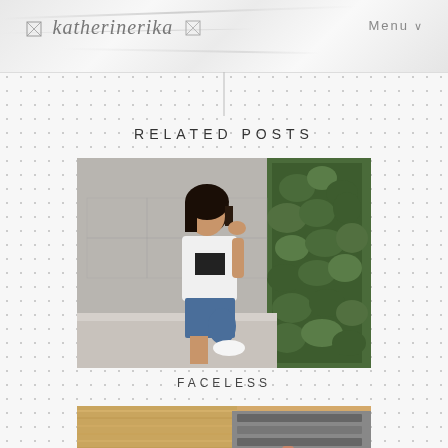katherinerika | Menu
RELATED POSTS
[Figure (photo): Young woman in white graphic t-shirt and denim shorts sitting on a bench outdoors against a concrete block wall with green hedges, wearing white sneakers, touching her hair]
FACELESS
[Figure (photo): Close-up of blonde hair extensions being handled, showing clip-in hair extension wefts]